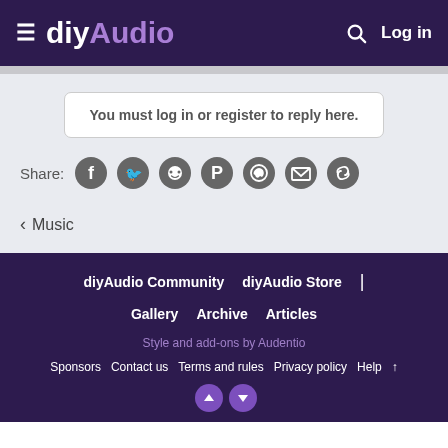diyAudio — Log in
You must log in or register to reply here.
Share:
< Music
diyAudio Community  diyAudio Store  |  Gallery  Archive  Articles  Style and add-ons by Audentio  Sponsors  Contact us  Terms and rules  Privacy policy  Help